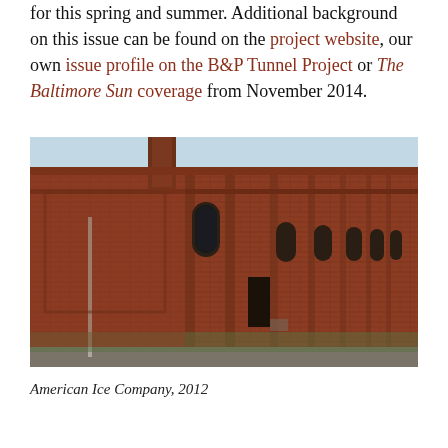for this spring and summer. Additional background on this issue can be found on the project website, our own issue profile on the B&P Tunnel Project or The Baltimore Sun coverage from November 2014.
[Figure (photo): Exterior photograph of a long red-brick industrial building with arched windows and a smokestack, taken from street level. The building appears abandoned or derelict. Labeled as American Ice Company, 2012.]
American Ice Company, 2012